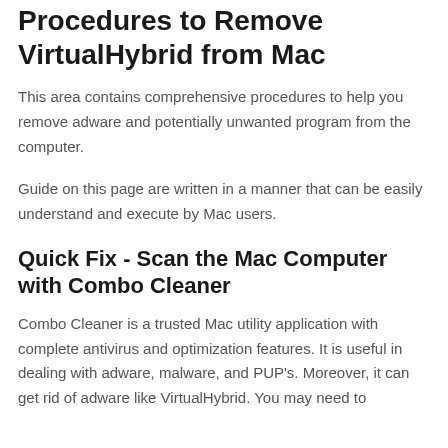Procedures to Remove VirtualHybrid from Mac
This area contains comprehensive procedures to help you remove adware and potentially unwanted program from the computer.
Guide on this page are written in a manner that can be easily understand and execute by Mac users.
Quick Fix - Scan the Mac Computer with Combo Cleaner
Combo Cleaner is a trusted Mac utility application with complete antivirus and optimization features. It is useful in dealing with adware, malware, and PUP's. Moreover, it can get rid of adware like VirtualHybrid. You may need to